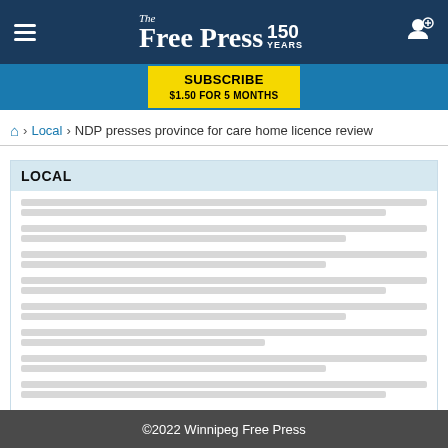The Free Press 150 Years
SUBSCRIBE $1.50 FOR 5 MONTHS
Home > Local > NDP presses province for care home licence review
LOCAL
[placeholder article list lines]
LOAD MORE LOCAL
©2022 Winnipeg Free Press